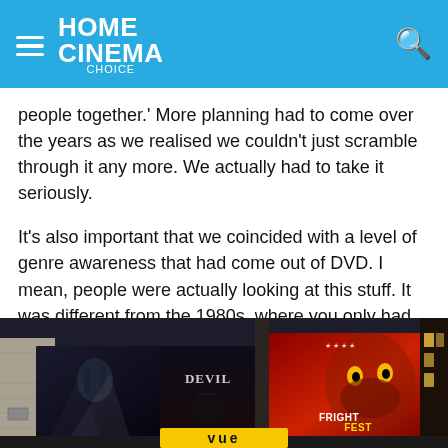HOME CINEMA Choice
people together.' More planning had to come over the years as we realised we couldn't just scramble through it any more. We actually had to take it seriously.
It's also important that we coincided with a level of genre awareness that had come out of DVD. I mean, people were actually looking at this stuff. It was different from the 1980s, where you only had magazines and video cassettes.
[Figure (photo): Cinema billboard display showing horror/genre film posters including 'Devil' and 'FrightFest', taken outside a Vue cinema venue at night.]